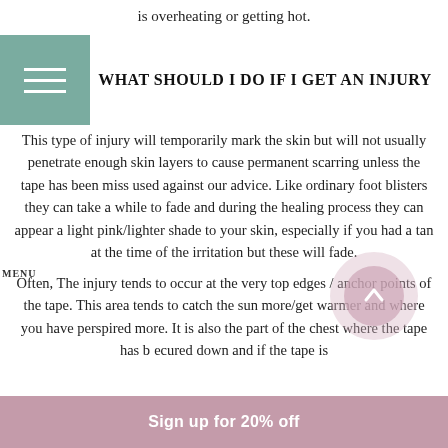is overheating or getting hot.
WHAT SHOULD I DO IF I GET AN INJURY
This type of injury will temporarily mark the skin but will not usually penetrate enough skin layers to cause permanent scarring unless the tape has been miss used against our advice. Like ordinary foot blisters they can take a while to fade and during the healing process they can appear a light pink/lighter shade to your skin, especially if you had a tan at the time of the irritation but these will fade.
Often, The injury tends to occur at the very top edges / anchor points of the tape. This area tends to catch the sun more/get warmer and where you have perspired more. It is also the part of the chest where the tape has b...ecured down and if the tape is
Sign up for 20% off